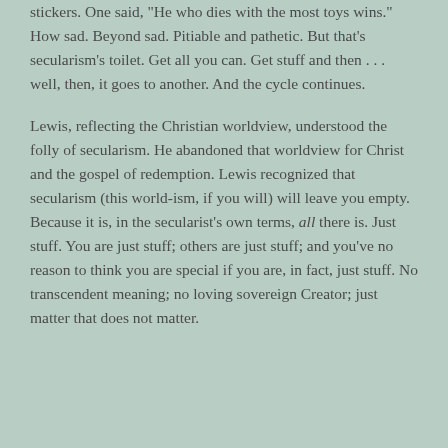stickers. One said, "He who dies with the most toys wins." How sad. Beyond sad. Pitiable and pathetic. But that's secularism's toilet. Get all you can. Get stuff and then . . . well, then, it goes to another. And the cycle continues.
Lewis, reflecting the Christian worldview, understood the folly of secularism. He abandoned that worldview for Christ and the gospel of redemption. Lewis recognized that secularism (this world-ism, if you will) will leave you empty. Because it is, in the secularist's own terms, all there is. Just stuff. You are just stuff; others are just stuff; and you've no reason to think you are special if you are, in fact, just stuff. No transcendent meaning; no loving sovereign Creator; just matter that does not matter.